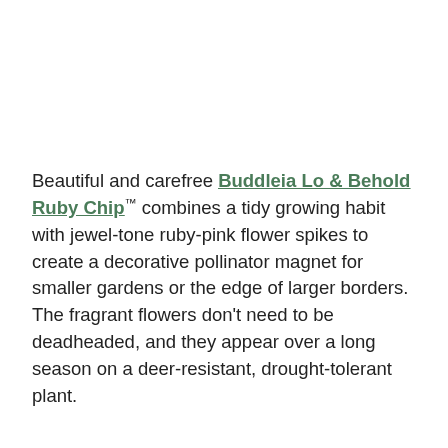Beautiful and carefree Buddleia Lo & Behold Ruby Chip™ combines a tidy growing habit with jewel-tone ruby-pink flower spikes to create a decorative pollinator magnet for smaller gardens or the edge of larger borders. The fragrant flowers don't need to be deadheaded, and they appear over a long season on a deer-resistant, drought-tolerant plant.